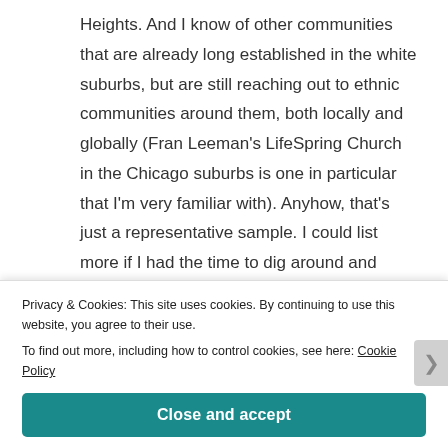Heights. And I know of other communities that are already long established in the white suburbs, but are still reaching out to ethnic communities around them, both locally and globally (Fran Leeman's LifeSpring Church in the Chicago suburbs is one in particular that I'm very familiar with). Anyhow, that's just a representative sample. I could list more if I had the time to dig around and refresh my memory.
But I guess my point is that even for the folks who
Privacy & Cookies: This site uses cookies. By continuing to use this website, you agree to their use.
To find out more, including how to control cookies, see here: Cookie Policy
Close and accept